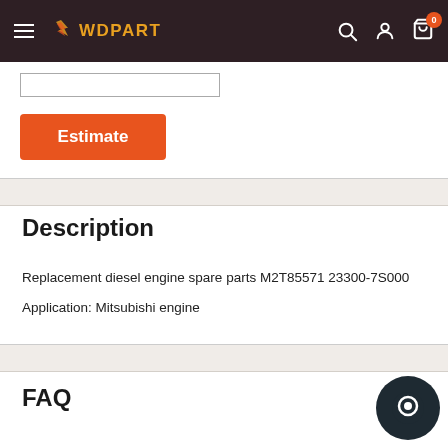WOPART — navigation bar with hamburger menu, logo, search, account, and cart (0 items)
[Figure (screenshot): Input text field (partially visible, cropped at top)]
[Figure (other): Orange 'Estimate' button]
Description
Replacement diesel engine spare parts M2T85571 23300-7S000
Application: Mitsubishi engine
FAQ
[Figure (other): Dark circular chat/support button in bottom right corner]